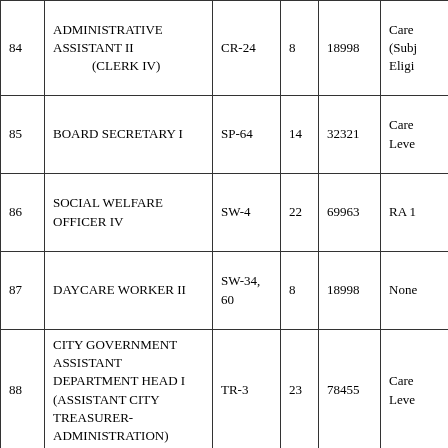| No. | Position | SG | Step | Salary | Remarks |
| --- | --- | --- | --- | --- | --- |
| 84 | ADMINISTRATIVE ASSISTANT II (CLERK IV) | CR-24 | 8 | 18998 | Care (Subj Eligi |
| 85 | BOARD SECRETARY I | SP-64 | 14 | 32321 | Care Leve |
| 86 | SOCIAL WELFARE OFFICER IV | SW-4 | 22 | 69963 | RA 1 |
| 87 | DAYCARE WORKER II | SW-34, 60 | 8 | 18998 | None |
| 88 | CITY GOVERNMENT ASSISTANT DEPARTMENT HEAD I (ASSISTANT CITY TREASURER-ADMINISTRATION) | TR-3 | 23 | 78455 | Care Leve |
| 89 | ADMINISTRATIVE OFFICER I | TR-10 | 10 | 22190 | Care Seco |